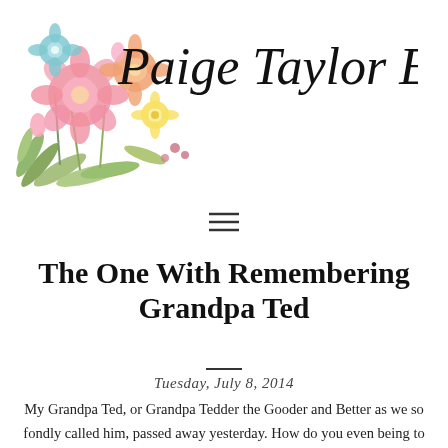[Figure (illustration): Watercolor floral bouquet with pink, coral, blue, and yellow flowers with green leaves, positioned in the upper left of the header. A cursive handwritten-style logo text 'Paige Taylor Evans' appears to the right of the flowers.]
Paige Taylor Evans
≡
The One With Remembering Grandpa Ted
Tuesday, July 8, 2014
My Grandpa Ted, or Grandpa Tedder the Gooder and Better as we so fondly called him, passed away yesterday. How do you even being to pay tribute to one of the greatest men ever to live? As my mom and I were crying on the phone yesterday we both agreed, we don't have a single bad